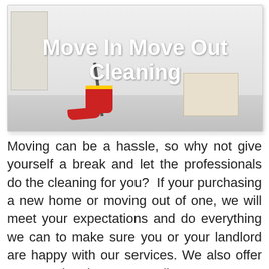[Figure (photo): Hero image of a clean white room with cleaning supplies — red bucket with yellow rim, mop/broom handle, red dustpan, white cardboard box, and white cabinet. Overlaid bold white text reads 'Move In Move Out Cleaning'.]
Move In Move Out Cleaning
Moving can be a hassle, so why not give yourself a break and let the professionals do the cleaning for you?  If your purchasing a new home or moving out of one, we will meet your expectations and do everything we can to make sure you or your landlord are happy with our services. We also offer carpet cleaning at a discount to our customers that hire us to do a deep cleaning clicking here for carpet cleaning information. Our standard fees are based on